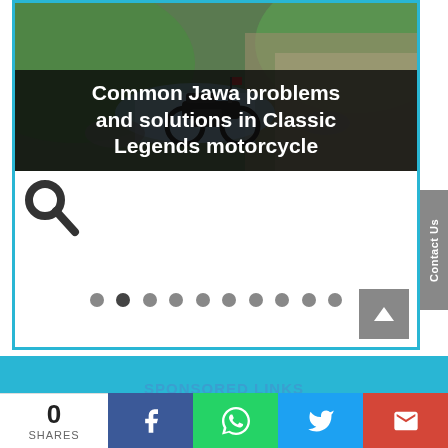[Figure (photo): Hero image of a motorcycle on a mountain/river trail with overlaid title text: 'Common Jawa problems and solutions in Classic Legends motorcycle']
Common Jawa problems and solutions in Classic Legends motorcycle
[Figure (other): Search icon (magnifying glass) and pagination dots (10 circles)]
SPONSORED LINKS
0 SHARES